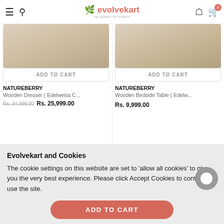evolvekart by Indians for Indians
[Figure (screenshot): Product image of Wooden Dresser (Edelweiss C...) with Add to Cart button]
NATUREBERRY
Wooden Dresser ( Edelweiss C...
Rs. 34,999.00  Rs. 25,999.00
[Figure (screenshot): Product image of Wooden Bedside Table (Edelw...) with Add to Cart button]
NATUREBERRY
Wooden Bedside Table ( Edelw...
Rs. 9,999.00
Evolvekart and Cookies
The cookie settings on this website are set to 'allow all cookies' to give you the very best experience. Please click Accept Cookies to continue to use the site.
ACCEPT ✔
ADD TO CART